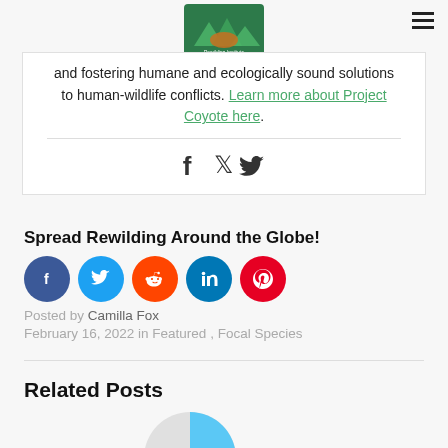[Figure (logo): Rewilding Institute logo with green mountains and animal graphic]
and fostering humane and ecologically sound solutions to human-wildlife conflicts. Learn more about Project Coyote here.
[Figure (infographic): Social share icons: Facebook (f) and Twitter bird icon]
Spread Rewilding Around the Globe!
[Figure (infographic): Social share circle icons: Facebook, Twitter, Reddit, LinkedIn, Pinterest]
Posted by Camilla Fox
February 16, 2022 in Featured , Focal Species
Related Posts
[Figure (pie-chart): Partial pie chart visible at bottom of page]